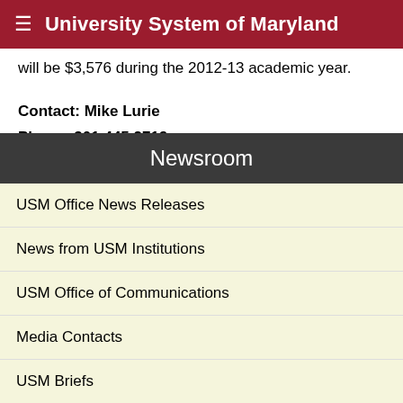University System of Maryland
will be $3,576 during the 2012-13 academic year.
Contact: Mike Lurie
Phone: 301.445.2719
Email: mlurie@usmd.edu
Newsroom
USM Office News Releases
News from USM Institutions
USM Office of Communications
Media Contacts
USM Briefs